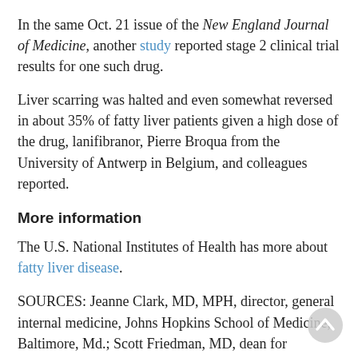In the same Oct. 21 issue of the New England Journal of Medicine, another study reported stage 2 clinical trial results for one such drug.
Liver scarring was halted and even somewhat reversed in about 35% of fatty liver patients given a high dose of the drug, lanifibranor, Pierre Broqua from the University of Antwerp in Belgium, and colleagues reported.
More information
The U.S. National Institutes of Health has more about fatty liver disease.
SOURCES: Jeanne Clark, MD, MPH, director, general internal medicine, Johns Hopkins School of Medicine, Baltimore, Md.; Scott Friedman, MD, dean for therapeutic discovery, chief, liver disease, Icahn School of Medicine at Mount Sinai, New York City; New England Journal of Medicine, Oct. 21, 2021